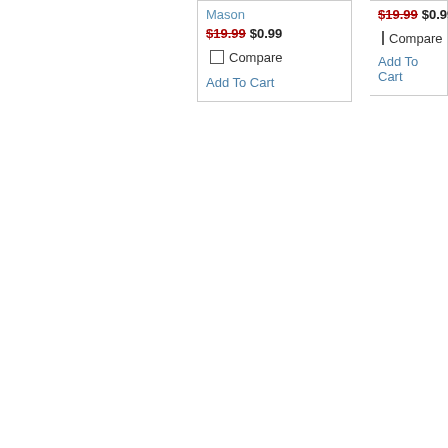Mason
$19.99 $0.99
Compare
Add To Cart
$19.99 $0.99
Compare
Add To Cart